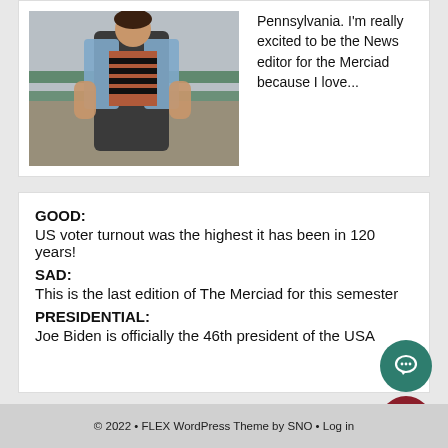[Figure (photo): Photo of a person wearing a denim jacket and striped shirt, standing near a green railing outdoors]
Pennsylvania. I'm really excited to be the News editor for the Merciad because I love...
GOOD:
US voter turnout was the highest it has been in 120 years!
SAD:
This is the last edition of The Merciad for this semester
PRESIDENTIAL:
Joe Biden is officially the 46th president of the USA
© 2022 • FLEX WordPress Theme by SNO • Log in